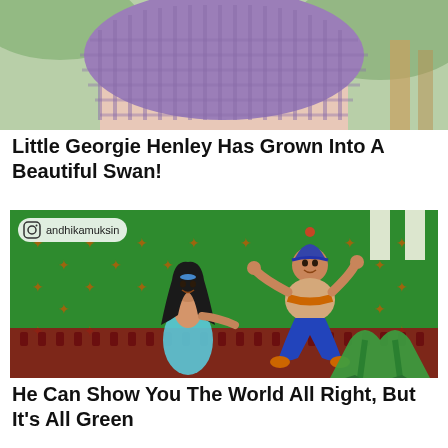[Figure (photo): Cropped photo of a person wearing a pink coat and chunky purple/lavender knit scarf, outdoor setting with greenery in background]
Little Georgie Henley Has Grown Into A Beautiful Swan!
[Figure (photo): Meme image showing Disney animated characters Jasmine and Aladdin from the movie Aladdin, placed on a green screen background. Instagram watermark 'andhikamuksin' visible top left.]
He Can Show You The World All Right, But It's All Green